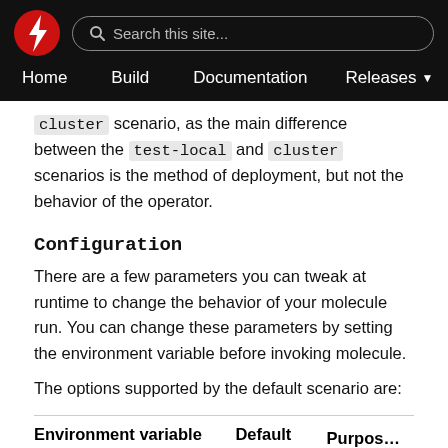Navigation bar with logo, search, Home, Build, Documentation, Releases
cluster scenario, as the main difference between the test-local and cluster scenarios is the method of deployment, but not the behavior of the operator.
Configuration
There are a few parameters you can tweak at runtime to change the behavior of your molecule run. You can change these parameters by setting the environment variable before invoking molecule.
The options supported by the default scenario are:
| Environment variable | Default | Purpose |
| --- | --- | --- |